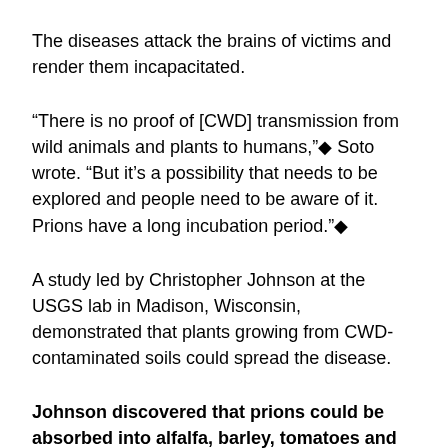The diseases attack the brains of victims and render them incapacitated.
“There is no proof of [CWD] transmission from wild animals and plants to humans,” Soto wrote. “But it’s a possibility that needs to be explored and people need to be aware of it. Prions have a long incubation period.”
A study led by Christopher Johnson at the USGS lab in Madison, Wisconsin, demonstrated that plants growing from CWD-contaminated soils could spread the disease.
Johnson discovered that prions could be absorbed into alfalfa, barley, tomatoes and corn. In turn, when CWD prions were extracted from plants and injected into mice, the rodents became ill.